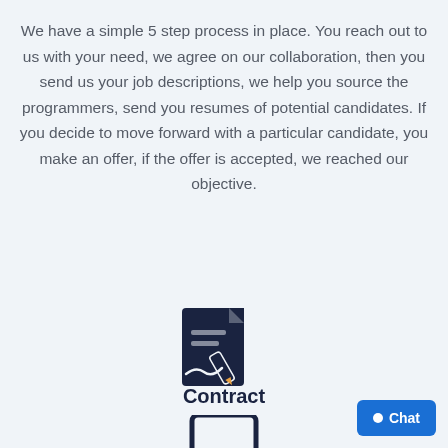We have a simple 5 step process in place. You reach out to us with your need, we agree on our collaboration, then you send us your job descriptions, we help you source the programmers, send you resumes of potential candidates. If you decide to move forward with a particular candidate, you make an offer, if the offer is accepted, we reached our objective.
[Figure (illustration): Dark navy blue icon of a document/contract with a pen/signature overlay]
Contract
[Figure (illustration): Dark navy blue icon of a tablet/device, partially visible at bottom of page]